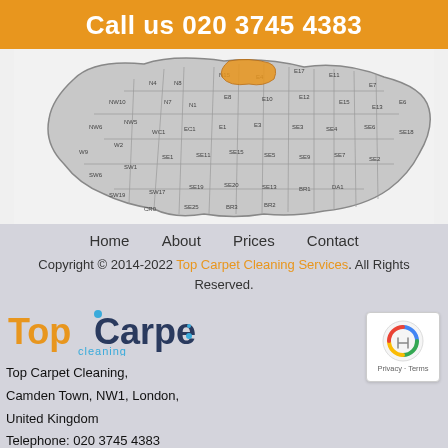Call us 020 3745 4383
[Figure (map): Map of London postcodes/areas shown in grey with district labels]
Home   About   Prices   Contact
Copyright © 2014-2022 Top Carpet Cleaning Services. All Rights Reserved.
[Figure (logo): Top Carpet Cleaning logo with orange and blue text]
Top Carpet Cleaning,
Camden Town, NW1, London,
United Kingdom
Telephone: 020 3745 4383